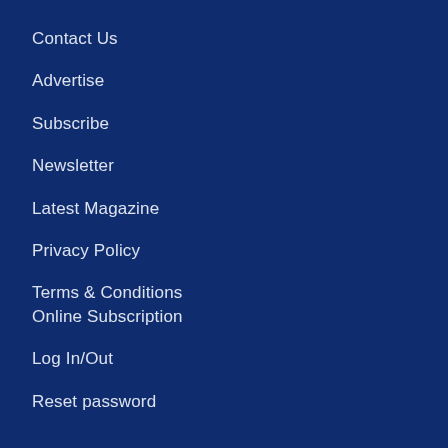Contact Us
Advertise
Subscribe
Newsletter
Latest Magazine
Privacy Policy
Terms & Conditions
Online Subscription
Log In/Out
Reset password